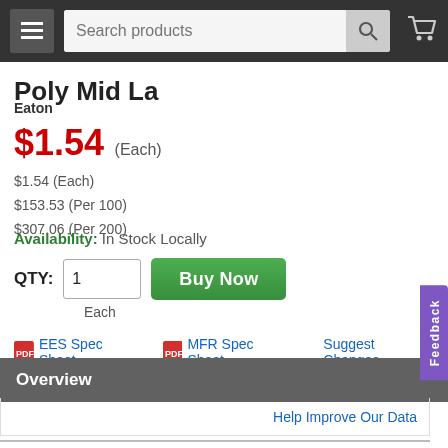Search products
Poly Mid La
Eaton
$1.54 (Each)
$1.54 (Each)
$153.53 (Per 100)
$307.06 (Per 200)
Availability: In Stock Locally
QTY: 1  Buy Now  Each
EES Spec Sheet   MFR Spec Sheet   Suggest Changes
Overview
Help Improve Our Data